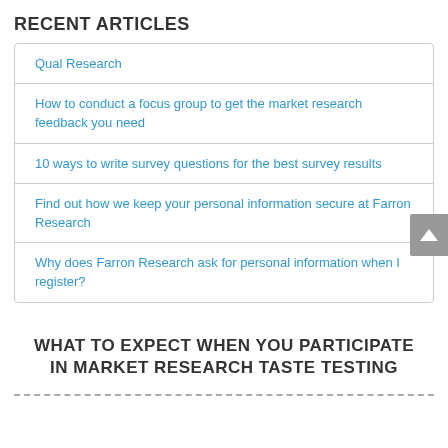RECENT ARTICLES
Qual Research
How to conduct a focus group to get the market research feedback you need
10 ways to write survey questions for the best survey results
Find out how we keep your personal information secure at Farron Research
Why does Farron Research ask for personal information when I register?
WHAT TO EXPECT WHEN YOU PARTICIPATE IN MARKET RESEARCH TASTE TESTING